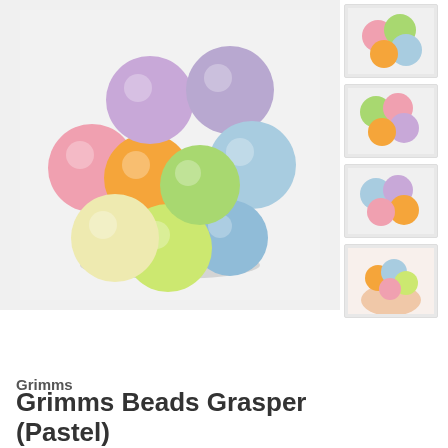[Figure (photo): Main product image: cluster of pastel-colored wooden beads (pink, orange, lavender, light blue, yellow-green, blue) arranged in a group on white background]
[Figure (photo): Thumbnail 1: top view of pastel bead cluster - pink, green, blue, orange]
[Figure (photo): Thumbnail 2: pastel bead cluster with green, pink, lavender, orange]
[Figure (photo): Thumbnail 3: bead cluster from side - blue, lavender, orange, pink]
[Figure (photo): Thumbnail 4: hand holding the bead grasper toy]
Grimms
Grimms Beads Grasper (Pastel)